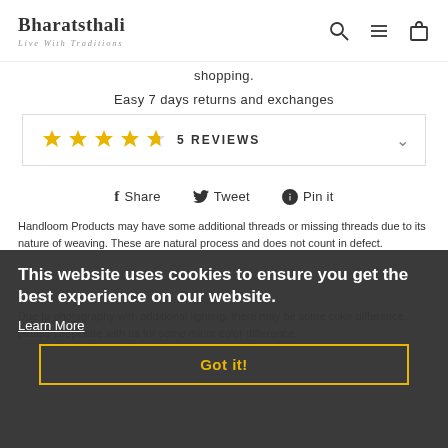Bharatsthali — Live With Traditions
shopping.
Easy 7 days returns and exchanges
[Figure (other): Star rating widget showing 4.5 stars and 5 REVIEWS label with a chevron dropdown]
Share  Tweet  Pin it
Handloom Products may have some additional threads or missing threads due to its nature of weaving. These are natural process and does not count in defect.
Due to photography with additional lighting, there may be some color difference, please cooperate with us for some minor color difference.
This website uses cookies to ensure you get the best experience on our website.
Learn More
Got it!